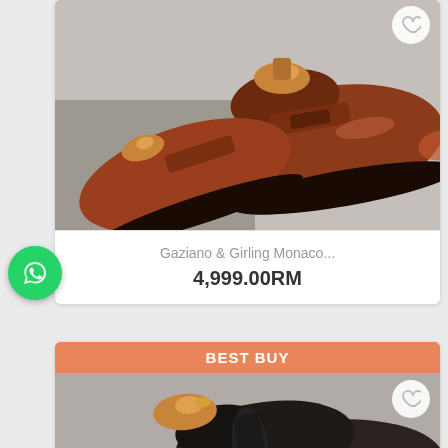[Figure (photo): Brown leather penny loafer shoes with wooden shoe trees, photographed on a grey surface]
Gaziano & Girling Monaco...
4,999.00RM
[Figure (logo): WhatsApp circular green button icon]
[Figure (photo): Dark brown/black leather dress shoes with wooden shoe trees, photographed on a surface, with BEST BUY banner overlay]